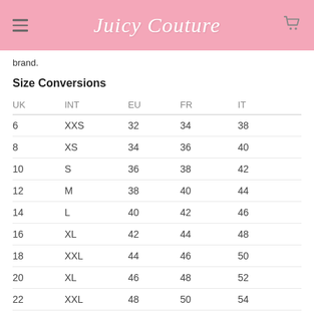Juicy Couture
brand.
Size Conversions
| UK | INT | EU | FR | IT |
| --- | --- | --- | --- | --- |
| 6 | XXS | 32 | 34 | 38 |
| 8 | XS | 34 | 36 | 40 |
| 10 | S | 36 | 38 | 42 |
| 12 | M | 38 | 40 | 44 |
| 14 | L | 40 | 42 | 46 |
| 16 | XL | 42 | 44 | 48 |
| 18 | XXL | 44 | 46 | 50 |
| 20 | XL | 46 | 48 | 52 |
| 22 | XXL | 48 | 50 | 54 |